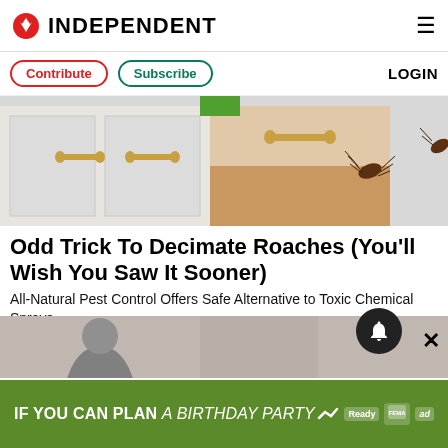INDEPENDENT
Contribute | Subscribe | LOGIN
[Figure (illustration): Illustration of kitchen cabinets with cockroaches crawling on them, showing drawers with gold handles]
Odd Trick To Decimate Roaches (You'll Wish You Saw It Sooner)
All-Natural Pest Control Offers Safe Alternative to Toxic Chemical Sprays
BUGMD | Sponsored
Learn More
[Figure (photo): Bottom strip showing CULTURE and NEWS badges with a person photo, notification bell icon, and close X button]
IF YOU CAN PLAN A BIRTHDAY PARTY